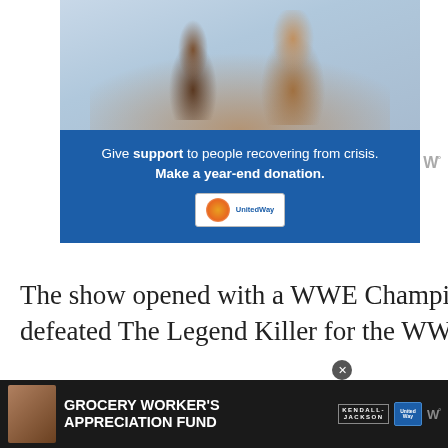[Figure (photo): United Way advertisement showing a happy family (two adults and two children) in white clothing. Below the photo is a blue panel with text: 'Give support to people recovering from crisis. Make a year-end donation.' with a United Way logo.]
The show opened with a WWE Championship match, where Triple H defeated The Legend Killer for the WWE Championship.
It was his first of three title matches that night. His scheduled match against Umaga w...
[Figure (photo): Bottom advertisement bar: Grocery Worker's Appreciation Fund with Kendall-Jackson and United Way logos.]